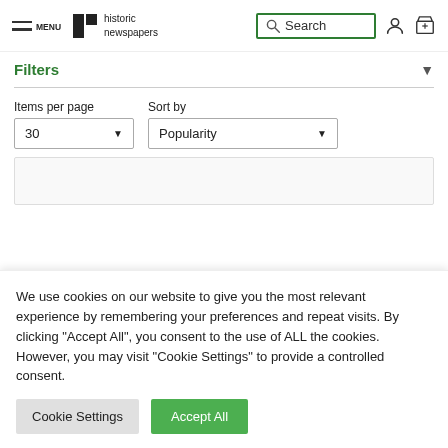MENU | historic newspapers | Search
Filters
Items per page
30
Sort by
Popularity
We use cookies on our website to give you the most relevant experience by remembering your preferences and repeat visits. By clicking “Accept All”, you consent to the use of ALL the cookies. However, you may visit "Cookie Settings" to provide a controlled consent.
Cookie Settings
Accept All